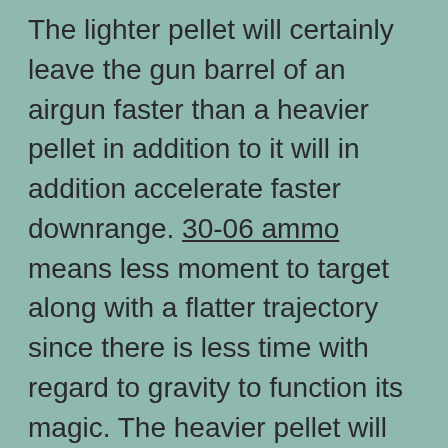The lighter pellet will certainly leave the gun barrel of an airgun faster than a heavier pellet in addition to it will in addition accelerate faster downrange. 30-06 ammo means less moment to target along with a flatter trajectory since there is less time with regard to gravity to function its magic. The heavier pellet will tend to possess a less smooth trajectory not since of its excess weight but because this spends more period to target providing gravity with even more the perfect time to pull that towards the earth.

The second factor that most affects the